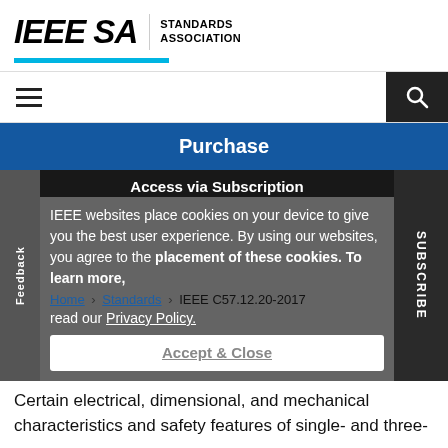[Figure (logo): IEEE SA Standards Association logo with cyan underline bar]
[Figure (screenshot): Navigation bar with hamburger menu icon on left and search button on right]
Purchase
Access via Subscription
IEEE websites place cookies on your device to give you the best user experience. By using our websites, you agree to the placement of these cookies. To learn more, read our Privacy Policy.
Home > Standards > IEEE C57.12.20-2017
Accept & Close
Certain electrical, dimensional, and mechanical characteristics and safety features of single- and three-phase 69 kV and below...